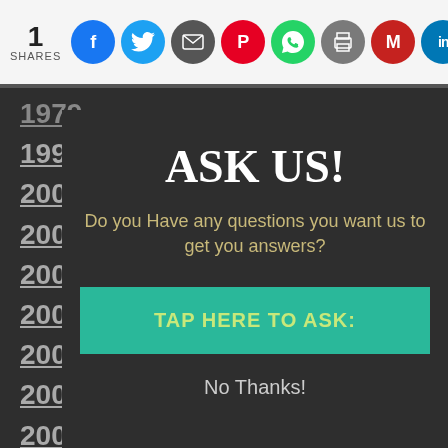[Figure (screenshot): Social sharing bar with 1 SHARES count and icons for Facebook, Twitter, Email, Pinterest, WhatsApp, Print, Gmail, LinkedIn, Google]
1979
1999
2000
2001
2002
2003
2004
2005
2006
2008
2009
2010
2011
2012
2013
2014
ASK US!
Do you Have any questions you want us to get you answers?
TAP HERE TO ASK:
No Thanks!